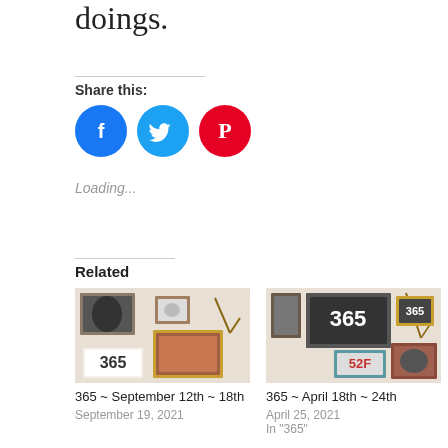doings.
Share this:
[Figure (illustration): Three social media icon circles: Facebook (blue), Twitter (light blue), Pinterest (red)]
Loading...
Related
[Figure (photo): Gallery wall with picture frames and a '365' sign]
365 ~ September 12th ~ 18th
September 19, 2021
[Figure (photo): Gallery wall with frames including '365' and '52F' signs]
365 ~ April 18th ~ 24th
April 25, 2021
In "365"